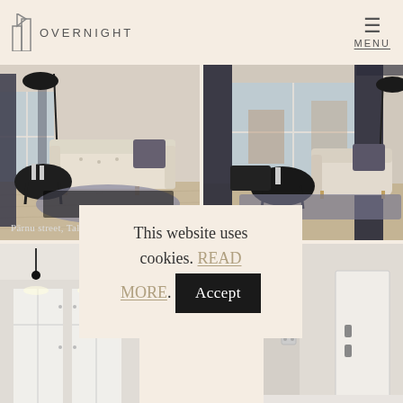OVERNIGHT | MENU
[Figure (photo): Interior photo of apartment living room with beige sofa, dark pillow, round coffee table with candles, dark curtains and window — Pärnu street, Tallinn]
Pärnu street, Tallinn
[Figure (photo): Interior photo of apartment living room from different angle with beige armchair, dark pillow, round coffee table, sheer dark curtains and window view — Pärnu street, Tallinn]
Pärnu street, Tallinn
[Figure (photo): Partial view of apartment interior showing wardrobe/storage area with white cabinets and ceiling track lighting]
[Figure (photo): Partial view of apartment interior showing wall with light switch/socket]
This website uses cookies. READ MORE. Accept